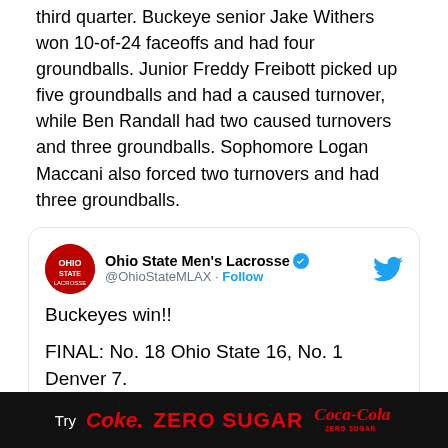third quarter. Buckeye senior Jake Withers won 10-of-24 faceoffs and had four groundballs. Junior Freddy Freibott picked up five groundballs and had a caused turnover, while Ben Randall had two caused turnovers and three groundballs. Sophomore Logan Maccani also forced two turnovers and had three groundballs.
[Figure (screenshot): Embedded tweet from @OhioStateMLAX (Ohio State Men's Lacrosse) with verified badge and Twitter bird icon. Tweet reads: Buckeyes win!! FINAL: No. 18 Ohio State 16, No. 1 Denver 7. Buckeyes are now 9-0 this season. #GoBucks]
[Figure (infographic): Advertisement banner: Try Coke Zero Sugar with Coca-Cola Zero Sugar logo, black background, red and white text.]